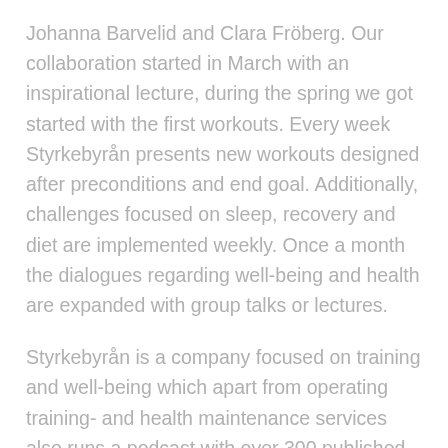Johanna Barvelid and Clara Fröberg. Our collaboration started in March with an inspirational lecture, during the spring we got started with the first workouts. Every week Styrkebyrån presents new workouts designed after preconditions and end goal. Additionally, challenges focused on sleep, recovery and diet are implemented weekly. Once a month the dialogues regarding well-being and health are expanded with group talks or lectures.
Styrkebyrån is a company focused on training and well-being which apart from operating training- and health maintenance services also runs a podcast with over 300 published episodes.
Substorm was founded in 2019 by Sofi Elfving and digital business developers Tromb. The company was recently appointed one of the top AI startups in Europe. Substorm's